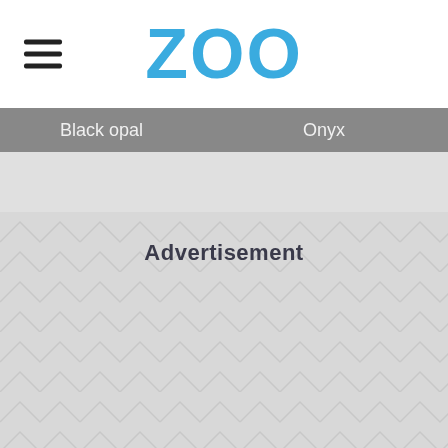ZOO
Black opal    Onyx
[Figure (other): Gray image strip placeholder]
Advertisement